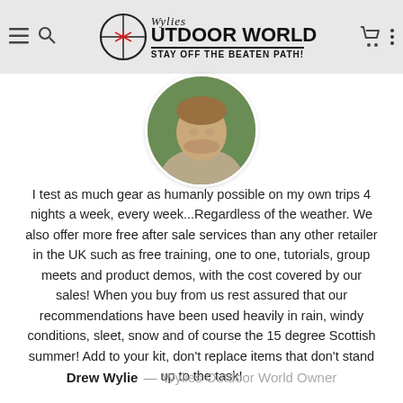Wylies Outdoor World — STAY OFF THE BEATEN PATH!
[Figure (photo): Circular profile photo of Drew Wylie, a man with light brown hair outdoors]
I test as much gear as humanly possible on my own trips 4 nights a week, every week...Regardless of the weather. We also offer more free after sale services than any other retailer in the UK such as free training, one to one, tutorials, group meets and product demos, with the cost covered by our sales! When you buy from us rest assured that our recommendations have been used heavily in rain, windy conditions, sleet, snow and of course the 15 degree Scottish summer! Add to your kit, don't replace items that don't stand up to the task!
Drew Wylie – Wylies Outdoor World Owner